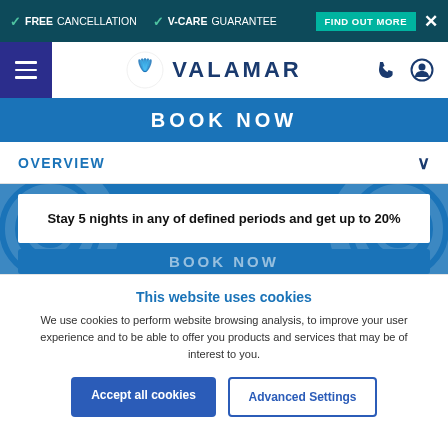✓ FREE CANCELLATION   ✓ V-CARE GUARANTEE   FIND OUT MORE  ✕
[Figure (logo): Valamar logo with shell icon and brand name]
BOOK NOW
OVERVIEW
Stay 5 nights in any of defined periods and get up to 20%
BOOK NOW (partially visible)
This website uses cookies
We use cookies to perform website browsing analysis, to improve your user experience and to be able to offer you products and services that may be of interest to you.
Accept all cookies
Advanced Settings